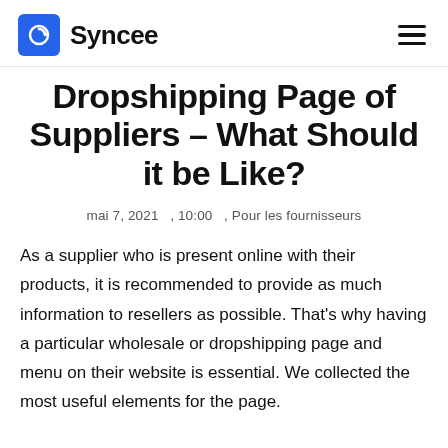Syncee
Dropshipping Page of Suppliers – What Should it be Like?
mai 7, 2021   , 10:00   , Pour les fournisseurs
As a supplier who is present online with their products, it is recommended to provide as much information to resellers as possible. That's why having a particular wholesale or dropshipping page and menu on their website is essential. We collected the most useful elements for the page. Considering this, we advise...